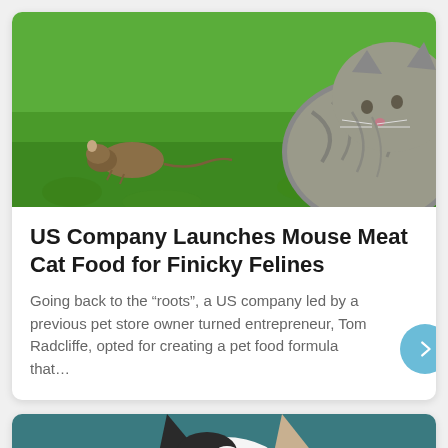[Figure (photo): A tabby cat sniffing a small mouse on green grass, outdoors]
US Company Launches Mouse Meat Cat Food for Finicky Felines
Going back to the “roots”, a US company led by a previous pet store owner turned entrepreneur, Tom Radcliffe, opted for creating a pet food formula that…
[Figure (photo): A black and white dog peeking over a dark teal/blue surface, ears visible and eyes just appearing above the edge]